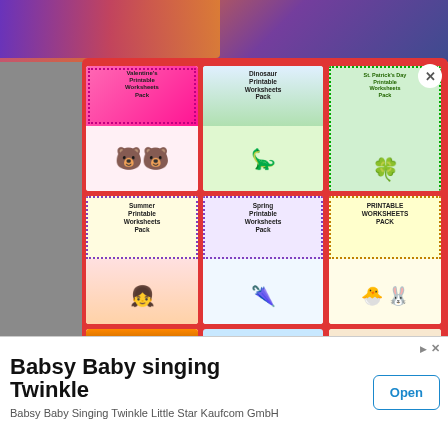[Figure (screenshot): Screenshot of a website showing a popup modal with a red background containing a 3x3 grid of educational printable worksheet pack covers (Valentine's, Dinosaur, St. Patrick's Day, Summer, Spring, Printable Worksheets, Halloween, Winter, Thanksgiving), along with a close button (X), partial website text visible behind the modal, and an advertisement banner at the bottom for 'Babsy Baby singing Twinkle' by Kaufcom GmbH with an 'Open' button.]